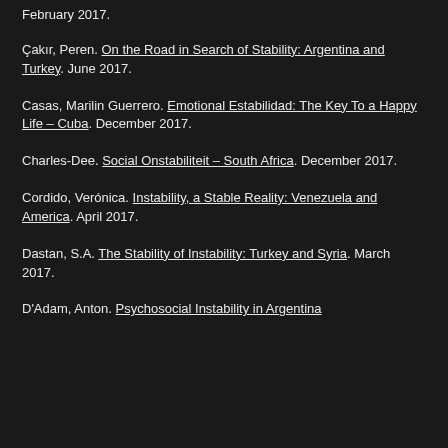February 2017.
Çakır, Peren. On the Road in Search of Stability: Argentina and Turkey. June 2017.
Casas, Marilin Guerrero. Emotional Estabilidad: The Key To a Happy Life – Cuba. December 2017.
Charles-Dee. Social Onstabiliteit – South Africa. December 2017.
Cordido, Verónica. Instability, a Stable Reality: Venezuela and America. April 2017.
Dastan, S.A. The Stability of Instability: Turkey and Syria. March 2017.
D'Adam, Anton. Psychosocial Instability in Argentina